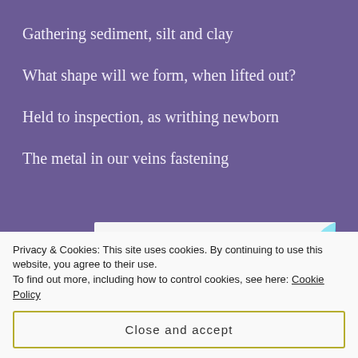Gathering sediment, silt and clay
What shape will we form, when lifted out?
Held to inspection, as writhing newborn
The metal in our veins fastening
[Figure (screenshot): Advertisement card: 'How to start selling subscriptions online' with a cyan/blue decorative shape on the right side]
Privacy & Cookies: This site uses cookies. By continuing to use this website, you agree to their use.
To find out more, including how to control cookies, see here: Cookie Policy
Close and accept